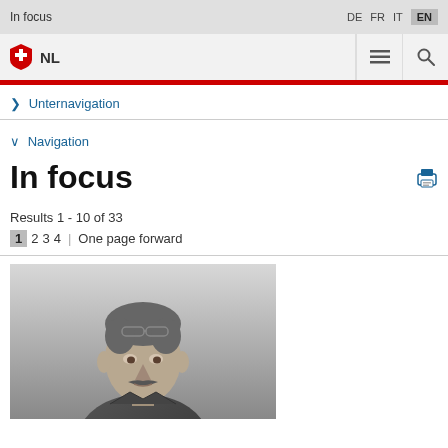In focus   DE  FR  IT  EN
[Figure (logo): Swiss federal cross shield logo with NL text, hamburger menu icon, search icon]
> Unternavigation
v Navigation
In focus
Results 1 - 10 of 33
1  2  3  4 | One page forward
[Figure (photo): Black and white portrait photograph of a man with glasses pushed up on his head and a mustache, looking to the side]